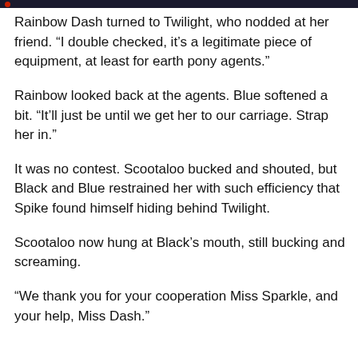Rainbow Dash turned to Twilight, who nodded at her friend. “I double checked, it’s a legitimate piece of equipment, at least for earth pony agents.”
Rainbow looked back at the agents. Blue softened a bit. “It’ll just be until we get her to our carriage. Strap her in.”
It was no contest. Scootaloo bucked and shouted, but Black and Blue restrained her with such efficiency that Spike found himself hiding behind Twilight.
Scootaloo now hung at Black’s mouth, still bucking and screaming.
“We thank you for your cooperation Miss Sparkle, and your help, Miss Dash.”